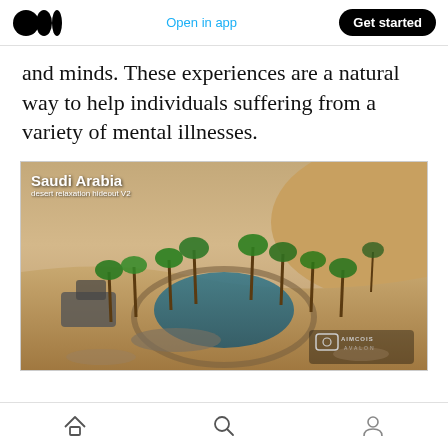Open in app | Get started
and minds. These experiences are a natural way to help individuals suffering from a variety of mental illnesses.
[Figure (photo): Aerial view of a Saudi Arabia desert oasis with palm trees surrounding a small blue lake, rendered 3D environment labeled 'Saudi Arabia desert relaxation hideout V2' with Aimeos Avalon watermark]
Home, Search, Profile navigation icons